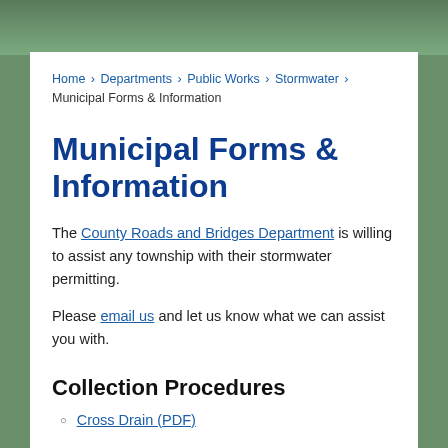Home > Departments > Public Works > Stormwater > Municipal Forms & Information
Municipal Forms & Information
The County Roads and Bridges Department is willing to assist any township with their stormwater permitting.
Please email us and let us know what we can assist you with.
Collection Procedures
Cross Drain (PDF)